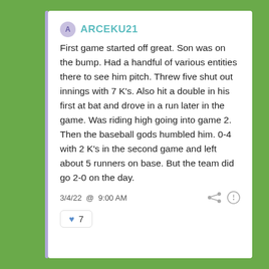ARCEKU21
First game started off great. Son was on the bump. Had a handful of various entities there to see him pitch. Threw five shut out innings with 7 K's. Also hit a double in his first at bat and drove in a run later in the game. Was riding high going into game 2. Then the baseball gods humbled him. 0-4 with 2 K's in the second game and left about 5 runners on base. But the team did go 2-0 on the day.
3/4/22 @ 9:00 AM
7